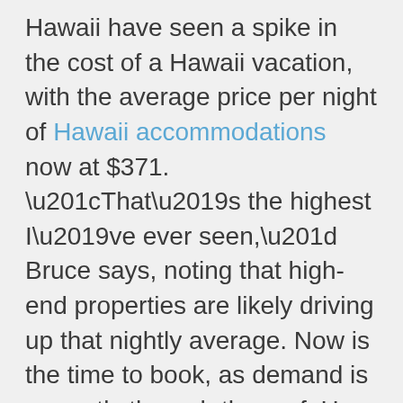Hawaii have seen a spike in the cost of a Hawaii vacation, with the average price per night of Hawaii accommodations now at $371. “That’s the highest I’ve ever seen,” Bruce says, noting that high-end properties are likely driving up that nightly average. Now is the time to book, as demand is currently through the roof. He discusses the lack of housekeeping services and employees in Hawaii and the possibility that some properties are considering eliminating those services. Many in the HAT Facebook community say they don’t need housekeeping during a Hawaii